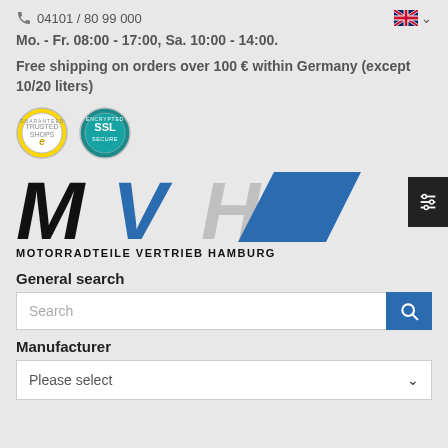04101 / 80 99 000
Mo. - Fr. 08:00 - 17:00, Sa. 10:00 - 14:00.
Free shipping on orders over 100 € within Germany (except 10/20 liters)
[Figure (logo): Trusted Shops and SSL security badges]
[Figure (logo): MVH Motorradteile Vertrieb Hamburg logo]
General search
Search
Manufacturer
Please select